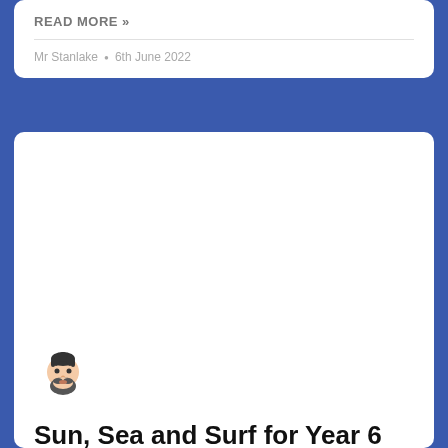READ MORE »
Mr Stanlake • 6th June 2022
[Figure (illustration): Bearded man avatar/emoji icon]
Sun, Sea and Surf for Year 6